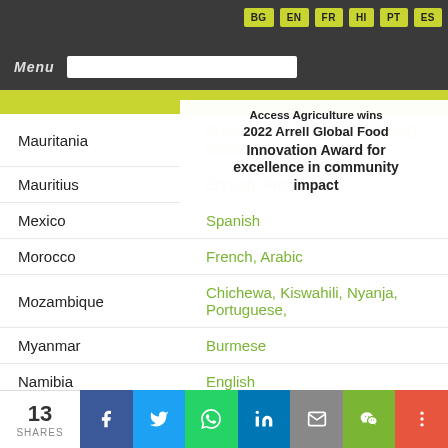BG EN FR HI PT ES — Menu
Access Agriculture wins 2022 Arrell Global Food Innovation Award for excellence in community impact
| Country | Languages |
| --- | --- |
| Mauritania | French, Arabic, Peulh (Fulfuldé), Wolof |
| Mauritius | English, French |
| Mexico | Spanish |
| Morocco | French, Arabic |
| Mozambique | Chichewa, Kiswahili, Nyanja, Portuguese, |
| Myanmar | Burmese |
| Namibia | English |
| Nepal | Nepali |
| Nicaragua | Spanish |
13 SHARES — Facebook, Twitter, WhatsApp, LinkedIn, Email, WeChat, More